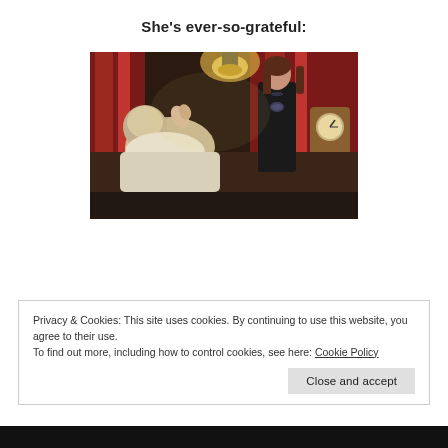She's ever-so-grateful:
[Figure (photo): A movie still showing a person lying in bed in period clothing while a woman in a dark dress stands nearby in an ornate Victorian room with red curtains and a clock on the mantle.]
Privacy & Cookies: This site uses cookies. By continuing to use this website, you agree to their use.
To find out more, including how to control cookies, see here: Cookie Policy
Close and accept